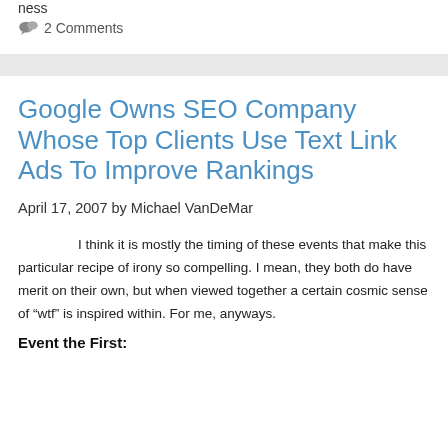ness
2 Comments
Google Owns SEO Company Whose Top Clients Use Text Link Ads To Improve Rankings
April 17, 2007 by Michael VanDeMar
I think it is mostly the timing of these events that make this particular recipe of irony so compelling. I mean, they both do have merit on their own, but when viewed together a certain cosmic sense of “wtf” is inspired within. For me, anyways.
Event the First: